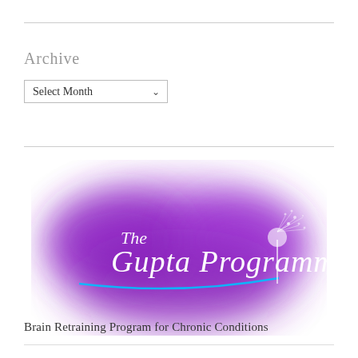Archive
Select Month
[Figure (logo): The Gupta Programme logo — white cursive text on a purple glowing cloud background with a dandelion illustration]
Brain Retraining Program for Chronic Conditions